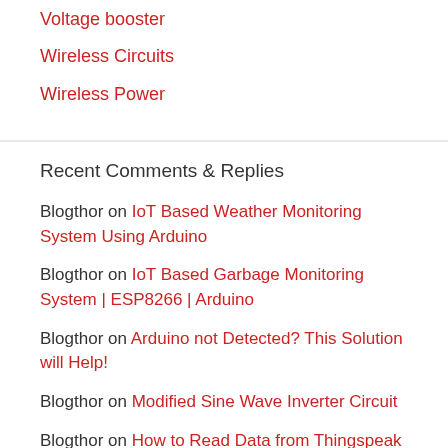Voltage booster
Wireless Circuits
Wireless Power
Recent Comments & Replies
Blogthor on IoT Based Weather Monitoring System Using Arduino
Blogthor on IoT Based Garbage Monitoring System | ESP8266 | Arduino
Blogthor on Arduino not Detected? This Solution will Help!
Blogthor on Modified Sine Wave Inverter Circuit
Blogthor on How to Read Data from Thingspeak